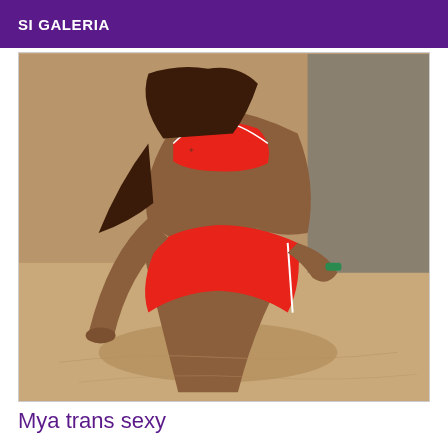SI GALERIA
[Figure (photo): A person in a red bikini top and red shorts kneeling on sand at a beach, photographed from behind/side angle.]
Mya trans sexy